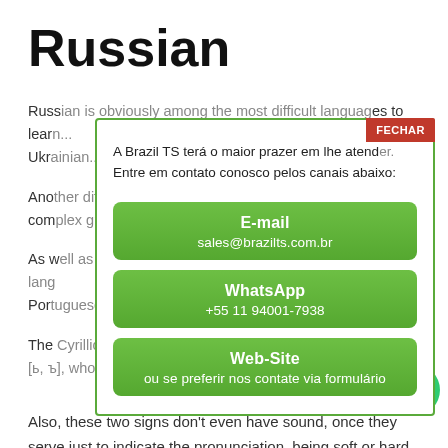Russian
Russian is obviously among the most difficult languages to learn...
A Brazil TS terá o maior prazer em lhe atender. Entre em contato conosco pelos canais abaixo:
E-mail
sales@brazilts.com.br
WhatsApp
+55 11 94001-7938
Web-Site
ou se preferir nos contate via formulário
Also, these two signs don't even have sound, once they serve just to indicate the pronunciation, being soft or hard.